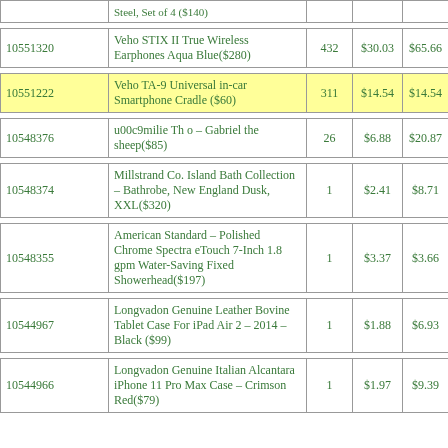| ID | Product | Qty | Price1 | Price2 |
| --- | --- | --- | --- | --- |
|  | Steel, Set of 4 ($140) |  |  |  |
| 10551320 | Veho STIX II True Wireless Earphones Aqua Blue($280) | 432 | $30.03 | $65.66 |
| 10551222 | Veho TA-9 Universal in-car Smartphone Cradle ($60) | 311 | $14.54 | $14.54 |
| 10548376 | u00c9milie Th o – Gabriel the sheep($85) | 26 | $6.88 | $20.87 |
| 10548374 | Millstrand Co. Island Bath Collection – Bathrobe, New England Dusk, XXL($320) | 1 | $2.41 | $8.71 |
| 10548355 | American Standard – Polished Chrome Spectra eTouch 7-Inch 1.8 gpm Water-Saving Fixed Showerhead($197) | 1 | $3.37 | $3.66 |
| 10544967 | Longvadon Genuine Leather Bovine Tablet Case For iPad Air 2 – 2014 – Black ($99) | 1 | $1.88 | $6.93 |
| 10544966 | Longvadon Genuine Italian Alcantara iPhone 11 Pro Max Case – Crimson Red($79) | 1 | $1.97 | $9.39 |